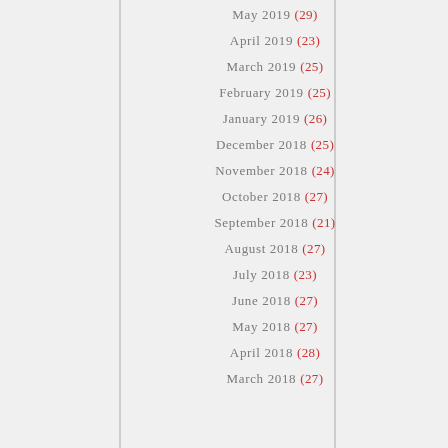May 2019 (29)
April 2019 (23)
March 2019 (25)
February 2019 (25)
January 2019 (26)
December 2018 (25)
November 2018 (24)
October 2018 (27)
September 2018 (21)
August 2018 (27)
July 2018 (23)
June 2018 (27)
May 2018 (27)
April 2018 (28)
March 2018 (27)